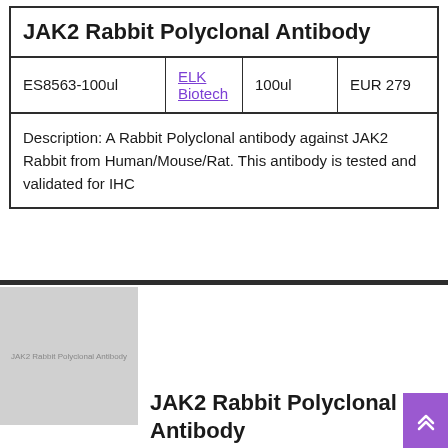| JAK2 Rabbit Polyclonal Antibody |
| --- |
| ES8563-100ul | ELK Biotech | 100ul | EUR 279 |
| Description: A Rabbit Polyclonal antibody against JAK2 Rabbit from Human/Mouse/Rat. This antibody is tested and validated for IHC |  |  |  |
[Figure (photo): Thumbnail image placeholder showing JAK2 Rabbit Polyclonal Antibody product]
JAK2 Rabbit Polyclonal Antibody